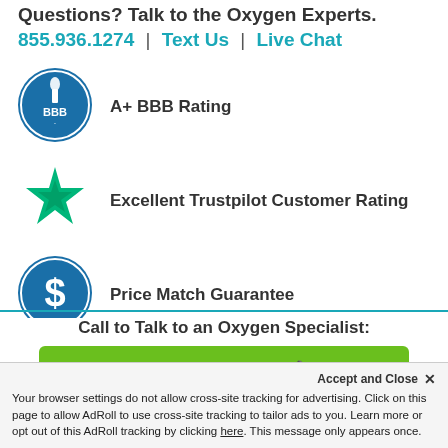Questions? Talk to the Oxygen Experts.
855.936.1274  |  Text Us  |  Live Chat
[Figure (logo): BBB (Better Business Bureau) circular blue logo with torch icon]
A+ BBB Rating
[Figure (logo): Green Trustpilot star icon]
Excellent Trustpilot Customer Rating
[Figure (logo): Blue circular dollar sign icon for Price Match Guarantee]
Price Match Guarantee
Call to Talk to an Oxygen Specialist:
1-855.936.1274
Accept and Close ✕
Your browser settings do not allow cross-site tracking for advertising. Click on this page to allow AdRoll to use cross-site tracking to tailor ads to you. Learn more or opt out of this AdRoll tracking by clicking here. This message only appears once.